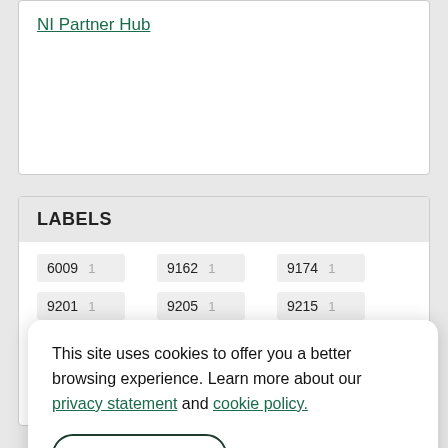NI Partner Hub
LABELS
| Label | Count | Label | Count | Label | Count |
| --- | --- | --- | --- | --- | --- |
| 6009 | 1 | 9162 | 1 | 9174 | 1 |
| 9201 | 1 | 9205 | 1 | 9215 | 1 |
This site uses cookies to offer you a better browsing experience. Learn more about our privacy statement and cookie policy.
Yes, I accept